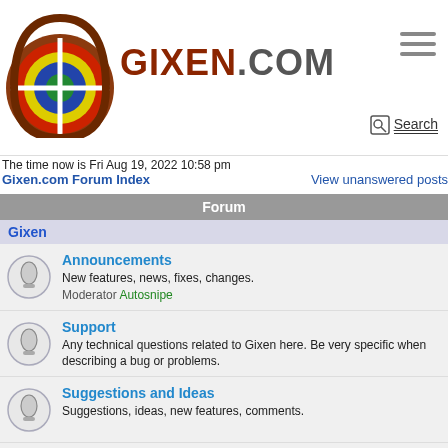[Figure (logo): Gixen.com logo with archery target icon and GIXEN.COM text]
The time now is Fri Aug 19, 2022 10:58 pm
Gixen.com Forum Index
View unanswered posts
Forum
Gixen
Announcements — New features, news, fixes, changes. Moderator Autosnipe
Support — Any technical questions related to Gixen here. Be very specific when describing a bug or problems.
Suggestions and Ideas — Suggestions, ideas, new features, comments.
Impressions — You are welcome to share your Gixen experience here.
Blog — Mario's Gixen Blog for Gixen enthusiasts. Read & post your comments.